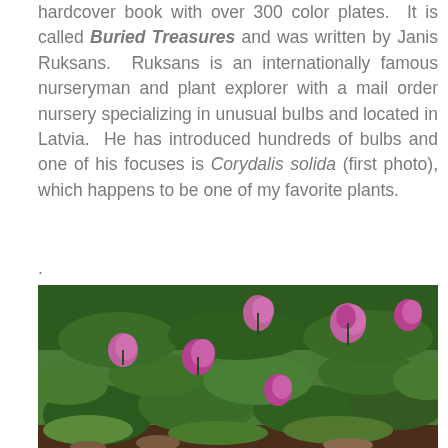hardcover book with over 300 color plates. It is called Buried Treasures and was written by Janis Ruksans. Ruksans is an internationally famous nurseryman and plant explorer with a mail order nursery specializing in unusual bulbs and located in Latvia. He has introduced hundreds of bulbs and one of his focuses is Corydalis solida (first photo), which happens to be one of my favorite plants.
.
[Figure (photo): A garden photograph showing Corydalis solida plants with pink/purple flowers blooming among green foliage and some dried leaves on the ground.]